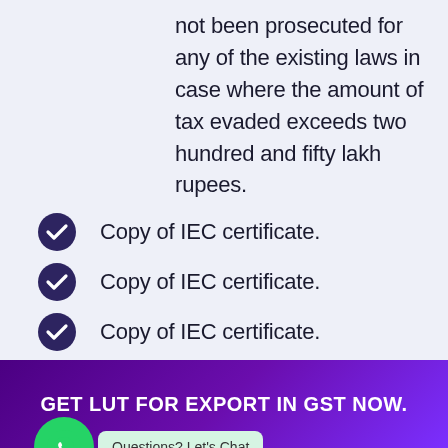not been prosecuted for any of the existing laws in case where the amount of tax evaded exceeds two hundred and fifty lakh rupees.
Copy of IEC certificate.
Copy of IEC certificate.
Copy of IEC certificate.
Copy of IEC certificate.
Copy of IEC certificate.
Questions? Let's Chat
GET LUT FOR EXPORT IN GST NOW.